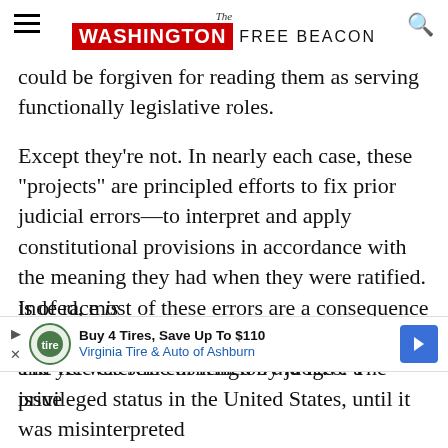The WASHINGTON FREE BEACON
could be forgiven for reading them as serving functionally legislative roles.
Except they're not. In nearly each case, these "projects" are principled efforts to fix prior judicial errors—to interpret and apply constitutional provisions in accordance with the meaning they had when they were ratified. Indeed, most of these errors are a consequence not of originalism but of judicial legislating. The free exercise of religion did have a privileged status in the United States, until it was misinterpreted ... is of race is antithetical to our nation's founding principles, and yet was still enshrined by judges. The issue
[Figure (infographic): Advertisement banner: Buy 4 Tires, Save Up To $110 - Virginia Tire & Auto of Ashburn, with logo and directional arrow icon]